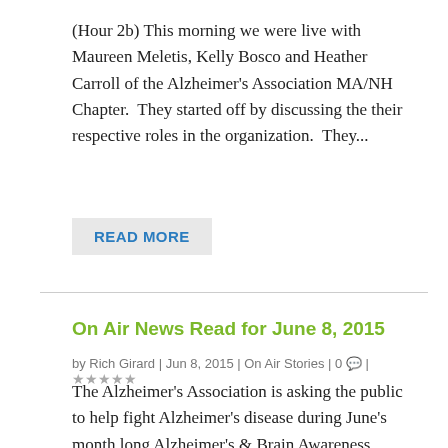(Hour 2b) This morning we were live with Maureen Meletis, Kelly Bosco and Heather Carroll of the Alzheimer's Association MA/NH Chapter.  They started off by discussing the their respective roles in the organization.  They...
READ MORE
On Air News Read for June 8, 2015
by Rich Girard | Jun 8, 2015 | On Air Stories | 0 | ★★★★★
The Alzheimer's Association is asking the public to help fight Alzheimer's disease during June's month long Alzheimer's & Brain Awareness Month.The month, which features multiple events and awareness campaigns, is designed...